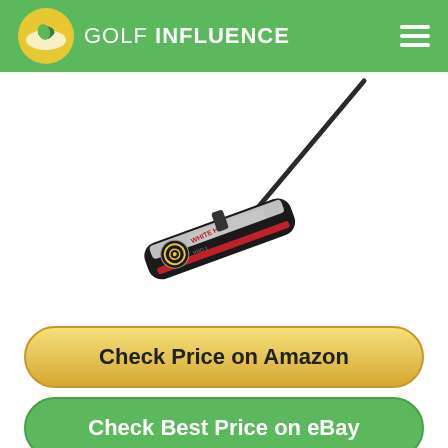GOLF INFLUENCE
[Figure (photo): An Odyssey White Hot Pro golf putter shown at an angle against a white background. The putter head is black with a white and red insert, and the Odyssey logo (concentric circles) is visible. The shaft extends diagonally to the upper right.]
Check Price on Amazon
Check Best Price on eBay